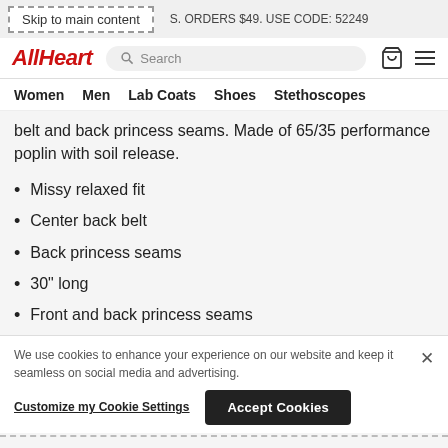Skip to main content | S. ORDERS $49. USE CODE: 52249
[Figure (logo): AllHeart logo in red italic bold text with search bar and navigation icons]
Women  Men  Lab Coats  Shoes  Stethoscopes
belt and back princess seams. Made of 65/35 performance poplin with soil release.
Missy relaxed fit
Center back belt
Back princess seams
30" long
Front and back princess seams
We use cookies to enhance your experience on our website and keep it seamless on social media and advertising.
Customize my Cookie Settings | Accept Cookies